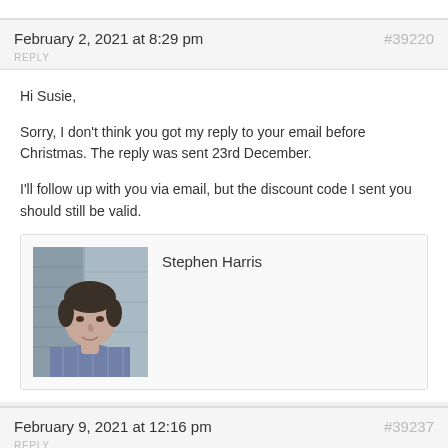February 2, 2021 at 8:29 pm
#39220
REPLY
Hi Susie,

Sorry, I don't think you got my reply to your email before Christmas. The reply was sent 23rd December.

I'll follow up with you via email, but the discount code I sent you should still be valid.
Stephen Harris
[Figure (photo): Portrait photo of Stephen Harris, a man with short dark hair wearing a patterned shirt, smiling slightly.]
February 9, 2021 at 12:16 pm
#39237
REPLY
Hi Stephen, Thank for ...